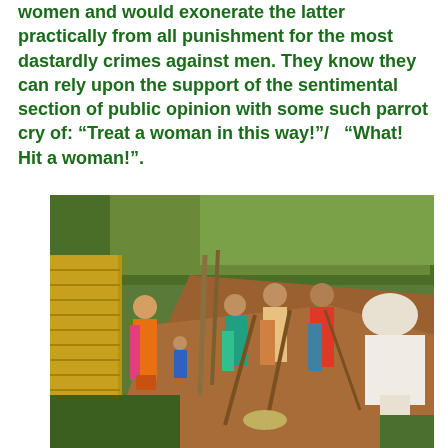women and would exonerate the latter practically from all punishment for the most dastardly crimes against men. They know they can rely upon the support of the sentimental section of public opinion with some such parrot cry of: “Treat a woman in this way!”/   “What! Hit a woman!”.
[Figure (photo): Outdoor photograph of a group of people working with tools on a dirt path next to a thatched wall and lush green vegetation. A woman in an orange/yellow sari stands to the left, others are digging or watching, and a person in white clothing bends over on the right.]